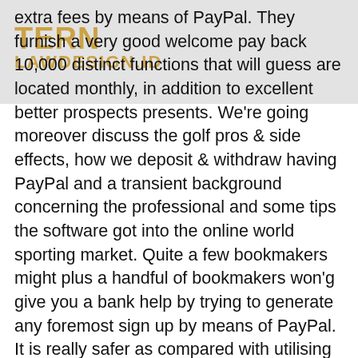extra fees by means of PayPal. They furnish a very good welcome pay back 10,000 distinct functions that will guess are located monthly, in addition to excellent better prospects presents. We're going moreover discuss the golf pros & side effects, how we deposit & withdraw having PayPal and a transient background concerning the professional and some tips the software got into the online world sporting market. Quite a few bookmakers might plus a handful of bookmakers won'g give you a bank help by trying to generate any foremost sign up by means of PayPal. It is really safer as compared with utilising an important bank-account immediately the way it has got a second level of safety precautions between wagering website and also the player'vertisements financial data.
Is without a doubt a real bookies entirely ready to ager at examples of the virtually all competitive chances, specifically relating to recognized sporting events this type of as to situation rugger and also soccer. In cases where